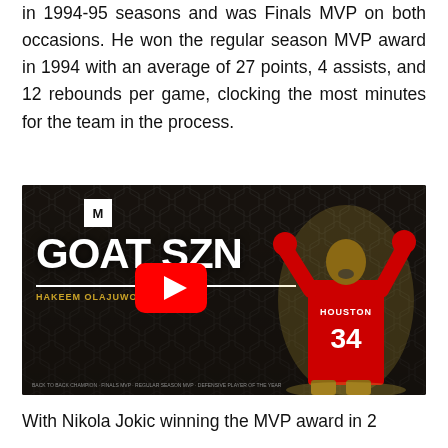in 1994-95 seasons and was Finals MVP on both occasions. He won the regular season MVP award in 1994 with an average of 27 points, 4 assists, and 12 rebounds per game, clocking the most minutes for the team in the process.
[Figure (screenshot): YouTube video thumbnail showing 'GOAT SZN - Hakeem Olajuwon' with the player in a Houston #34 jersey, dark hexagonal background, YouTube play button overlay and M logo]
With Nikola Jokic winning the MVP award in 2